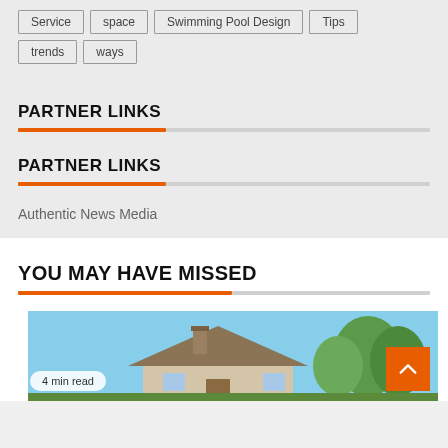Service
space
Swimming Pool Design
Tips
trends
ways
PARTNER LINKS
PARTNER LINKS
Authentic News Media
YOU MAY HAVE MISSED
[Figure (photo): Photo of a house with trees and blue sky, with a '4 min read' badge overlay]